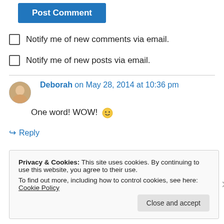[Figure (other): Blue 'Post Comment' button]
Notify me of new comments via email.
Notify me of new posts via email.
Deborah on May 28, 2014 at 10:36 pm
One word! WOW! 🙂
↪ Reply
Privacy & Cookies: This site uses cookies. By continuing to use this website, you agree to their use.
To find out more, including how to control cookies, see here: Cookie Policy
Close and accept